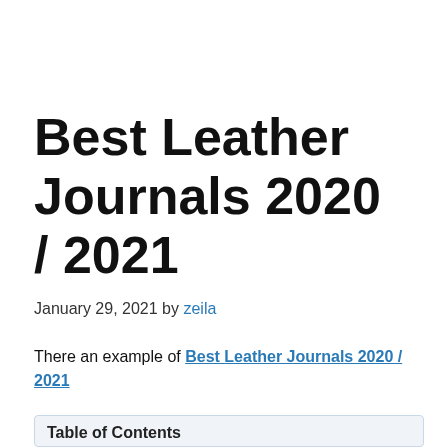Best Leather Journals 2020 / 2021
January 29, 2021 by zeila
There an example of Best Leather Journals 2020 / 2021
Table of Contents